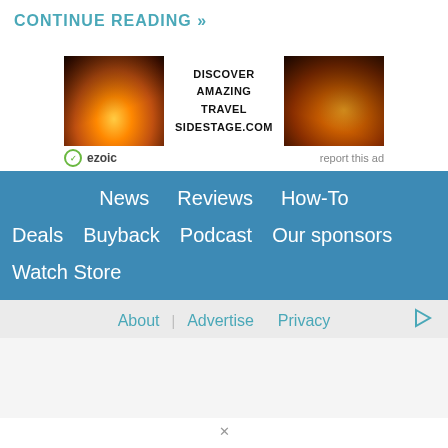CONTINUE READING »
[Figure (infographic): Travel advertisement banner with two sunset/cliffside photos flanking text 'DISCOVER AMAZING TRAVEL SIDESTAGE.COM' with ezoic badge and 'report this ad' link]
News   Reviews   How-To
Deals   Buyback   Podcast   Our sponsors
Watch Store
About   Advertise   Privacy